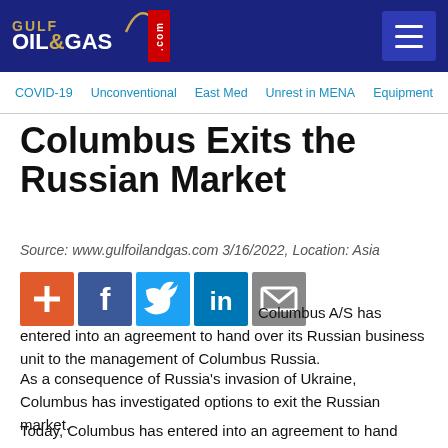Gulf Oil & Gas .com
COVID-19  Unconventional  East Med  Unrest in MENA  Equipment
Columbus Exits the Russian Market
Source: www.gulfoilandgas.com 3/16/2022, Location: Asia
[Figure (infographic): Social share buttons: plus (red), Facebook (blue), Twitter (light blue), LinkedIn (blue), Email (grey)]
Columbus A/S has entered into an agreement to hand over its Russian business unit to the management of Columbus Russia.
As a consequence of Russia's invasion of Ukraine, Columbus has investigated options to exit the Russian market.
Today, Columbus has entered into an agreement to hand over 100% of the ownership of the Russian business to the management of the Russian business.